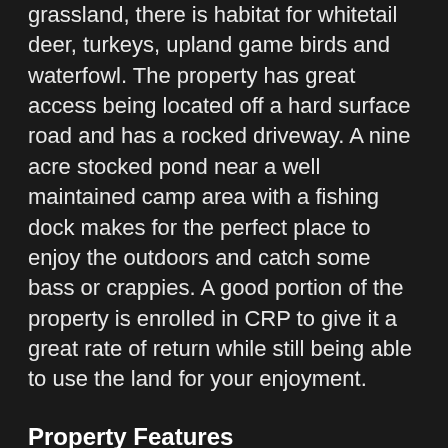grassland, there is habitat for whitetail deer, turkeys, upland game birds and waterfowl. The property has great access being located off a hard surface road and has a rocked driveway. A nine acre stocked pond near a well maintained camp area with a fishing dock makes for the perfect place to enjoy the outdoors and catch some bass or crappies. A good portion of the property is enrolled in CRP to give it a great rate of return while still being able to use the land for your enjoyment.
Property Features
153.48 Deeded acres